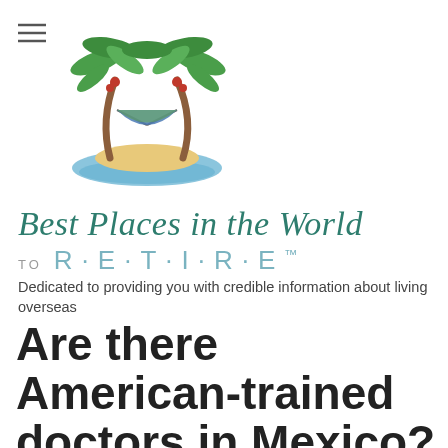[Figure (logo): Best Places in the World to Retire logo with two palm trees, hammock, beach island and water]
Best Places in the World
TO R·E·T·I·R·E™
Dedicated to providing you with credible information about living overseas
Are there American-trained doctors in Mexico?